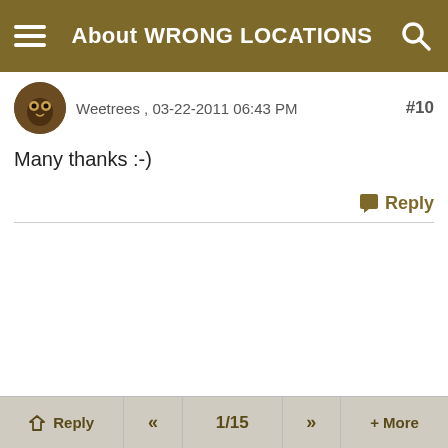About WRONG LOCATIONS
Weetrees , 03-22-2011 06:43 PM   #10
Many thanks :-)
Reply
Reply  «  1/15  »  + More